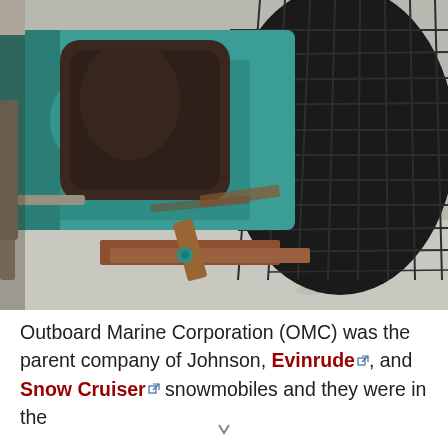[Figure (photo): Close-up photograph of an old teal/turquoise snowmobile or marine vehicle chassis tipped on its side, showing a large dark rubber track/tread on the right, metal frame components, rust, and a concrete surface below.]
Outboard Marine Corporation (OMC) was the parent company of Johnson, Evinrude, and Snow Cruiser snowmobiles and they were in the